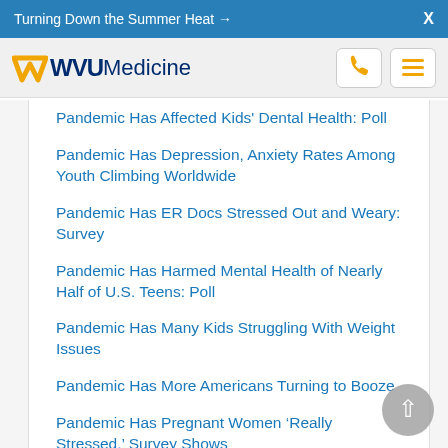Turning Down the Summer Heat →  X
WVU Medicine
Pandemic Has Affected Kids' Dental Health: Poll
Pandemic Has Depression, Anxiety Rates Among Youth Climbing Worldwide
Pandemic Has ER Docs Stressed Out and Weary: Survey
Pandemic Has Harmed Mental Health of Nearly Half of U.S. Teens: Poll
Pandemic Has Many Kids Struggling With Weight Issues
Pandemic Has More Americans Turning to Booze
Pandemic Has Pregnant Women 'Really Stressed,' Survey Shows
Pandemic Has Stressed Out Doctors
Pandemic Has U.S. Hospitals Overwhelmed With Teens in Mental Crisis